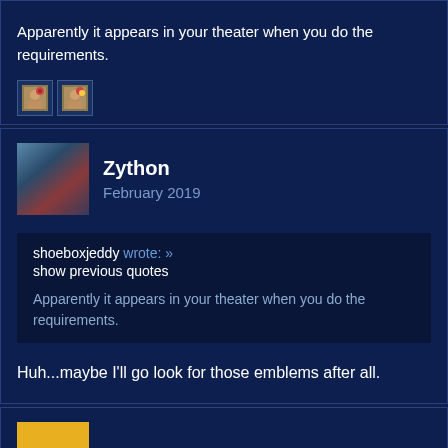Apparently it appears in your theater when you do the requirements.
[Figure (illustration): Two small emoji/icon images side by side]
Zython
February 2019
shoeboxjeddy wrote: »
show previous quotes
Apparently it appears in your theater when you do the requirements.
Huh...maybe I'll go look for those emblems after all.
Wyborn